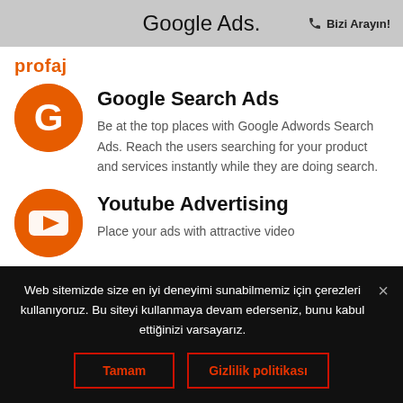Google Ads.   Bizi Arayın!
[Figure (logo): profaj logo text in orange]
[Figure (illustration): Orange circle with white G letter icon for Google Search Ads]
Google Search Ads
Be at the top places with Google Adwords Search Ads. Reach the users searching for your product and services instantly while they are doing search.
[Figure (illustration): Orange circle with white YouTube play button icon for Youtube Advertising]
Youtube Advertising
Place your ads with attractive video
Web sitemizde size en iyi deneyimi sunabilmemiz için çerezleri kullanıyoruz. Bu siteyi kullanmaya devam ederseniz, bunu kabul ettiğinizi varsayarız.
Tamam
Gizlilik politikası